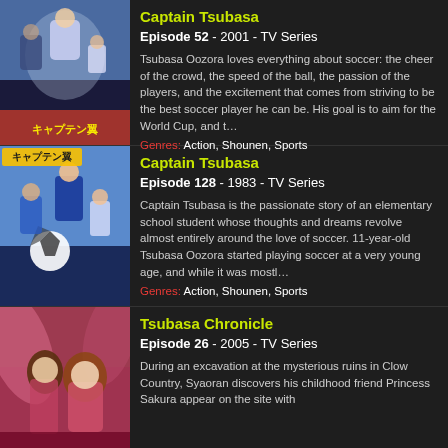[Figure (illustration): Anime cover art for Captain Tsubasa (2001) showing soccer players in action]
Captain Tsubasa
Episode 52  -  2001  -  TV Series
Tsubasa Oozora loves everything about soccer: the cheer of the crowd, the speed of the ball, the passion of the players, and the excitement that comes from striving to be the best soccer player he can be. His goal is to aim for the World Cup, and t…
Genres: Action, Shounen, Sports
[Figure (illustration): Anime cover art for Captain Tsubasa (1983) showing young soccer players with a soccer ball]
Captain Tsubasa
Episode 128  -  1983  -  TV Series
Captain Tsubasa is the passionate story of an elementary school student whose thoughts and dreams revolve almost entirely around the love of soccer. 11-year-old Tsubasa Oozora started playing soccer at a very young age, and while it was mostl…
Genres: Action, Shounen, Sports
[Figure (illustration): Anime cover art for Tsubasa Chronicle (2005) showing two characters in a pink/red fantasy setting]
Tsubasa Chronicle
Episode 26  -  2005  -  TV Series
During an excavation at the mysterious ruins in Clow Country, Syaoran discovers his childhood friend Princess Sakura appear on the site with…